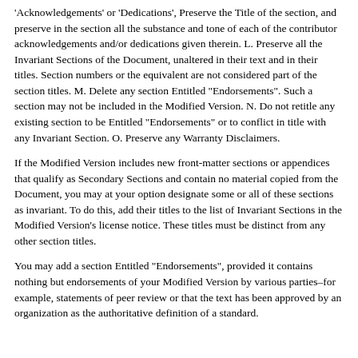'Acknowledgements' or 'Dedications', Preserve the Title of the section, and preserve in the section all the substance and tone of each of the contributor acknowledgements and/or dedications given therein. L. Preserve all the Invariant Sections of the Document, unaltered in their text and in their titles. Section numbers or the equivalent are not considered part of the section titles. M. Delete any section Entitled "Endorsements". Such a section may not be included in the Modified Version. N. Do not retitle any existing section to be Entitled "Endorsements" or to conflict in title with any Invariant Section. O. Preserve any Warranty Disclaimers.
If the Modified Version includes new front-matter sections or appendices that qualify as Secondary Sections and contain no material copied from the Document, you may at your option designate some or all of these sections as invariant. To do this, add their titles to the list of Invariant Sections in the Modified Version's license notice. These titles must be distinct from any other section titles.
You may add a section Entitled "Endorsements", provided it contains nothing but endorsements of your Modified Version by various parties–for example, statements of peer review or that the text has been approved by an organization as the authoritative definition of a standard.